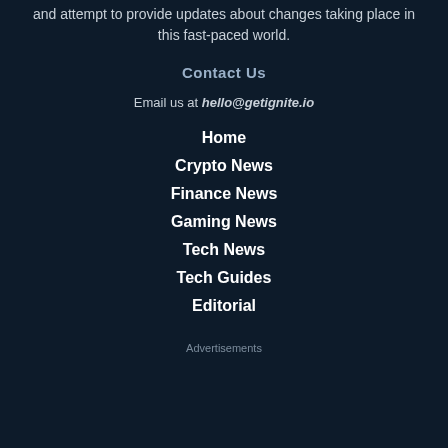and attempt to provide updates about changes taking place in this fast-paced world.
Contact Us
Email us at hello@getignite.io
Home
Crypto News
Finance News
Gaming News
Tech News
Tech Guides
Editorial
Advertisements